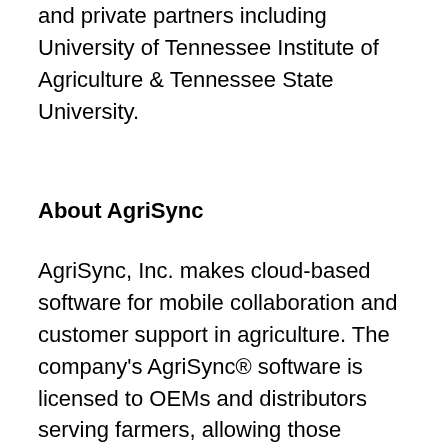and private partners including University of Tennessee Institute of Agriculture & Tennessee State University.
About AgriSync
AgriSync, Inc. makes cloud-based software for mobile collaboration and customer support in agriculture. The company's AgriSync® software is licensed to OEMs and distributors serving farmers, allowing those businesses to easily see, solve, and track support issues and proactively educate their customers in a mobile-first, video-first manner on any device. With AgriSync, experts deliver better service to their farmer customers at a fraction of the cost while helping farmers maximize uptime and